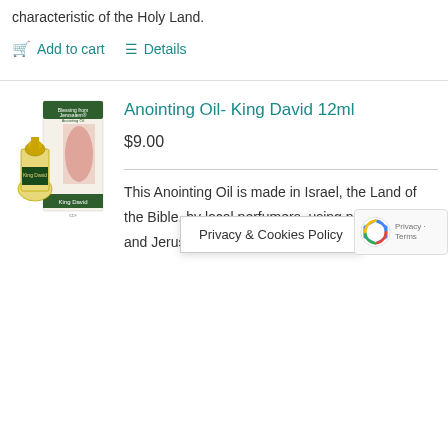characteristic of the Holy Land.
Add to cart   Details
Anointing Oil- King David 12ml
$9.00
This Anointing Oil is made in Israel, the Land of the Bible, by local perfumers, using natural Galilee and Jerusalem Virg... Oils and ...nd
Privacy & Cookies Policy